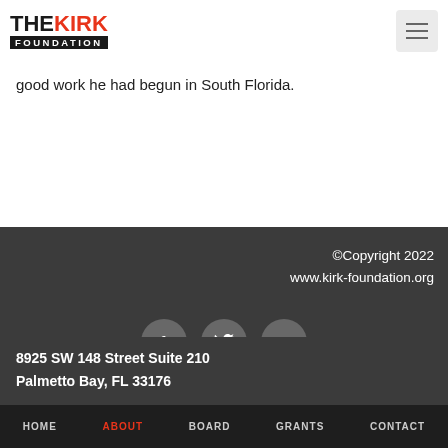[Figure (logo): The Kirk Foundation logo: 'THE KIRK' in black and red bold text, 'FOUNDATION' in white on black bar]
[Figure (other): Hamburger menu button (three horizontal lines) in a light gray rounded square]
good work he had begun in South Florida.
©Copyright 2022
www.kirk-foundation.org
[Figure (other): Three circular social media icons: Facebook (f), Twitter (bird), Google+ (G+)]
8925 SW 148 Street Suite 210
Palmetto Bay, FL 33176
HOME   ABOUT   BOARD   GRANTS   CONTACT